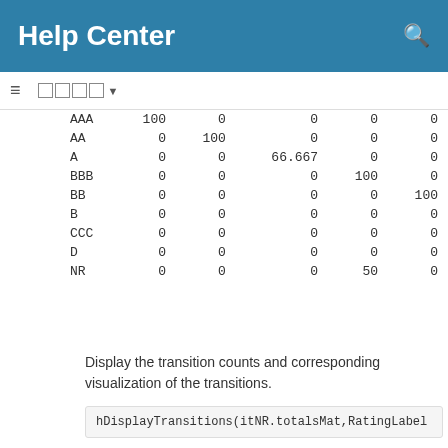Help Center
|  | AAA | AA | A | BBB | BB |
| --- | --- | --- | --- | --- | --- |
| AAA | 100 | 0 | 0 | 0 | 0 |
| AA | 0 | 100 | 0 | 0 | 0 |
| A | 0 | 0 | 66.667 | 0 | 0 |
| BBB | 0 | 0 | 0 | 100 | 0 |
| BB | 0 | 0 | 0 | 0 | 100 |
| B | 0 | 0 | 0 | 0 | 0 |
| CCC | 0 | 0 | 0 | 0 | 0 |
| D | 0 | 0 | 0 | 0 | 0 |
| NR | 0 | 0 | 0 | 50 | 0 |
Display the transition counts and corresponding visualization of the transitions.
Transition counts, company ID: DEF
|  | AAA | AA | A | BBB | BB | B |
| --- | --- | --- | --- | --- | --- | --- |
| — | — | — | — | — | — | — |